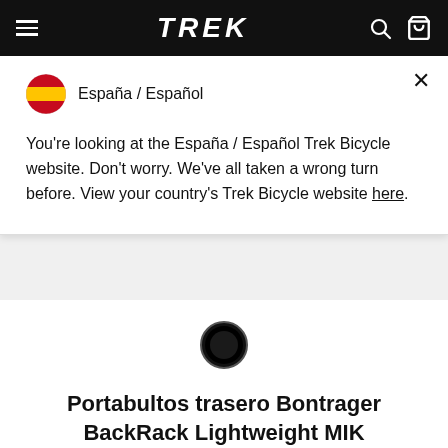TREK — navigation bar with hamburger menu, logo, search and cart icons
España / Español
You're looking at the España / Español Trek Bicycle website. Don't worry. We've all taken a wrong turn before. View your country's Trek Bicycle website here.
[Figure (other): Black circular color swatch selector button]
Portabultos trasero Bontrager BackRack Lightweight MIK
94,99 € (PVPR)